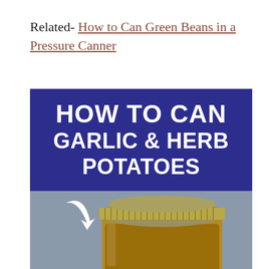Related- How to Can Green Beans in a Pressure Canner
[Figure (illustration): Dark blue banner image with bold white text reading 'HOW TO CAN GARLIC & HERB POTATOES']
[Figure (photo): Close-up photo of a mason jar with a metal lid, containing canned potatoes, with a white curved arrow graphic overlaid pointing to the jar]